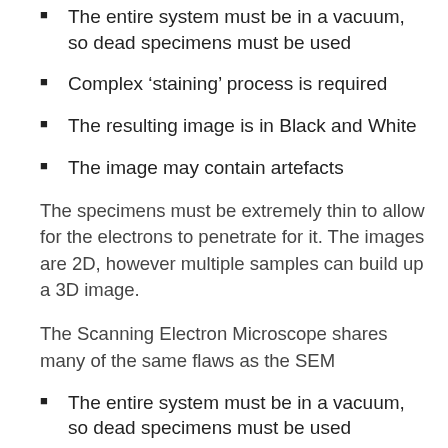The entire system must be in a vacuum, so dead specimens must be used
Complex 'staining' process is required
The resulting image is in Black and White
The image may contain artefacts
The specimens must be extremely thin to allow for the electrons to penetrate for it. The images are 2D, however multiple samples can build up a 3D image.
The Scanning Electron Microscope shares many of the same flaws as the SEM
The entire system must be in a vacuum, so dead specimens must be used